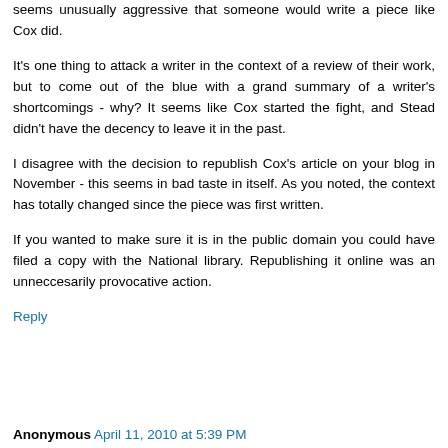seems unusually aggressive that someone would write a piece like Cox did.
It's one thing to attack a writer in the context of a review of their work, but to come out of the blue with a grand summary of a writer's shortcomings - why? It seems like Cox started the fight, and Stead didn't have the decency to leave it in the past.
I disagree with the decision to republish Cox's article on your blog in November - this seems in bad taste in itself. As you noted, the context has totally changed since the piece was first written.
If you wanted to make sure it is in the public domain you could have filed a copy with the National library. Republishing it online was an unneccesarily provocative action.
Reply
Anonymous April 11, 2010 at 5:39 PM